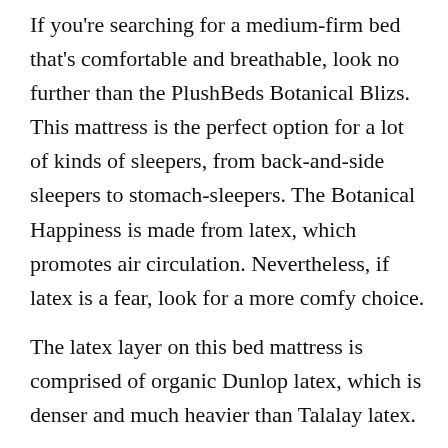If you're searching for a medium-firm bed that's comfortable and breathable, look no further than the PlushBeds Botanical Blizs. This mattress is the perfect option for a lot of kinds of sleepers, from back-and-side sleepers to stomach-sleepers. The Botanical Happiness is made from latex, which promotes air circulation. Nevertheless, if latex is a fear, look for a more comfy choice.
The latex layer on this bed mattress is comprised of organic Dunlop latex, which is denser and much heavier than Talalay latex.